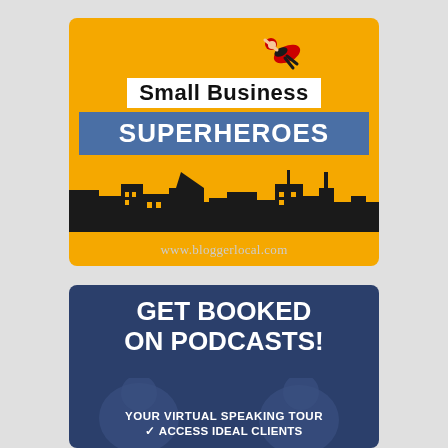[Figure (logo): Small Business Superheroes podcast logo: yellow/orange background with superhero flying above, city skyline silhouette, text 'Small Business' in white box and 'SUPERHEROES' in blue banner, website www.bloggerlocal.com at bottom]
[Figure (infographic): Dark navy blue banner ad: 'GET BOOKED ON PODCASTS!' in large bold white text, 'YOUR VIRTUAL SPEAKING TOUR' and '✓ ACCESS IDEAL CLIENTS' below with people visible in background]